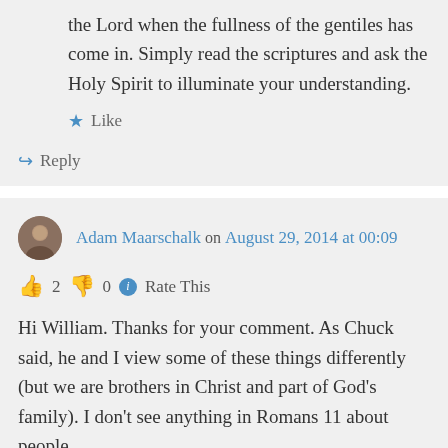the Lord when the fullness of the gentiles has come in. Simply read the scriptures and ask the Holy Spirit to illuminate your understanding.
★ Like
↪ Reply
Adam Maarschalk on August 29, 2014 at 00:09
👍 2 👎 0 ℹ Rate This
Hi William. Thanks for your comment. As Chuck said, he and I view some of these things differently (but we are brothers in Christ and part of God's family). I don't see anything in Romans 11 about people